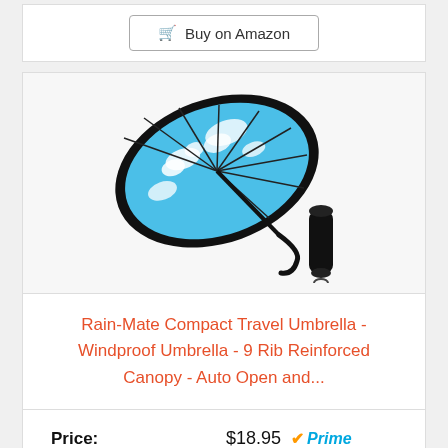[Figure (other): Buy on Amazon button at top of page]
[Figure (photo): Rain-Mate compact travel umbrella open showing blue sky with clouds pattern on inside, black exterior, with folded umbrella case beside it]
Rain-Mate Compact Travel Umbrella - Windproof Umbrella - 9 Rib Reinforced Canopy - Auto Open and...
Price: $18.95 Prime
[Figure (other): Buy on Amazon button at bottom of page]